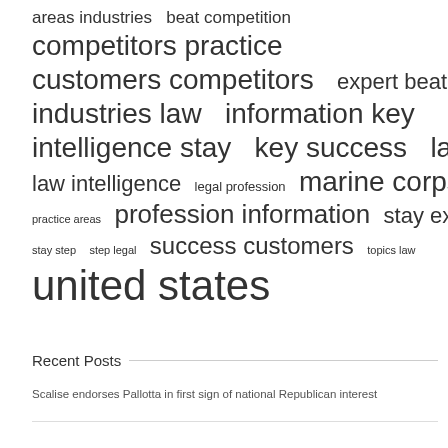[Figure (infographic): Tag cloud with words of various sizes: areas industries, beat competition, competitors practice, customers competitors, expert beat, industries law, information key, intelligence stay, key success, law free, law intelligence, legal profession, marine corps, practice areas, profession information, stay expert, stay step, step legal, success customers, topics law, united states]
Recent Posts
Scalise endorses Pallotta in first sign of national Republican interest